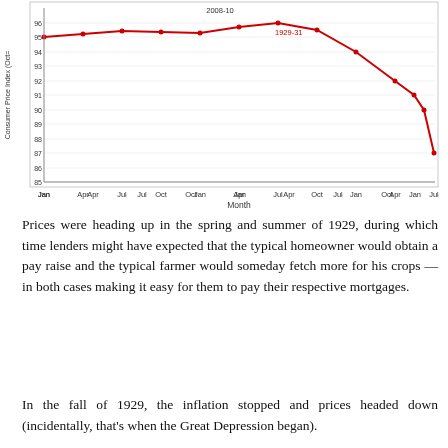[Figure (continuous-plot): Line chart showing Consumer Price Index over months from Jan 1928 through Jul 1931. Labeled periods: 2008-10 at top center, 1929-31 annotation at peak around Jul 1929 (CPI ~96). The line rises slightly from ~95 in early 1929 to a peak of ~96 around Jul 1929, then steadily declines to ~87 by Jul 1931.]
Prices were heading up in the spring and summer of 1929, during which time lenders might have expected that the typical homeowner would obtain a pay raise and the typical farmer would someday fetch more for his crops — in both cases making it easy for them to pay their respective mortgages.
In the fall of 1929, the inflation stopped and prices headed down (incidentally, that's when the Great Depression began).